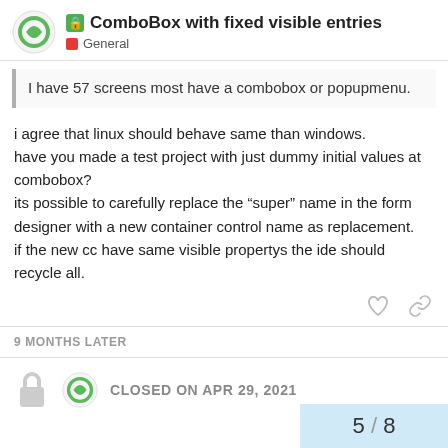ComboBox with fixed visible entries — General
I have 57 screens most have a combobox or popupmenu.
i agree that linux should behave same than windows.
have you made a test project with just dummy initial values at combobox?
its possible to carefully replace the “super” name in the form designer with a new container control name as replacement.
if the new cc have same visible propertys the ide should recycle all.
9 MONTHS LATER
CLOSED ON APR 29, 2021
5 / 8